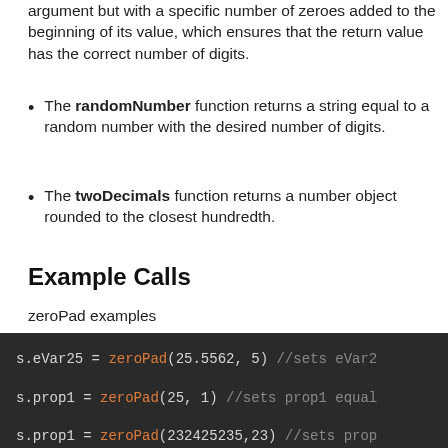argument but with a specific number of zeroes added to the beginning of its value, which ensures that the return value has the correct number of digits.
The randomNumber function returns a string equal to a random number with the desired number of digits.
The twoDecimals function returns a number object rounded to the closest hundredth.
Example Calls
zeroPad examples
[Figure (screenshot): Code block showing three zeroPad example calls: s.eVar25 = zeroPad(25.5562, 5) //sets eVar2, s.prop1 = zeroPad(25, 1) //sets prop1 equal, s.prop1 = zeroPad(232425235,23) //sets prop]